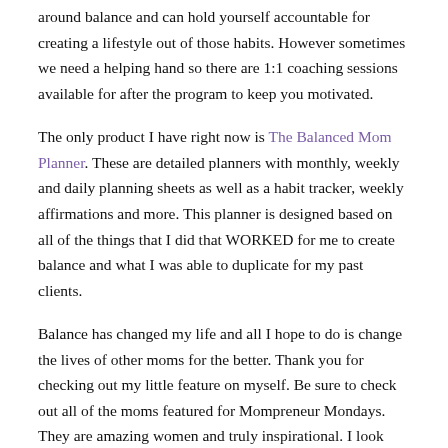around balance and can hold yourself accountable for creating a lifestyle out of those habits. However sometimes we need a helping hand so there are 1:1 coaching sessions available for after the program to keep you motivated.
The only product I have right now is The Balanced Mom Planner. These are detailed planners with monthly, weekly and daily planning sheets as well as a habit tracker, weekly affirmations and more. This planner is designed based on all of the things that I did that WORKED for me to create balance and what I was able to duplicate for my past clients.
Balance has changed my life and all I hope to do is change the lives of other moms for the better. Thank you for checking out my little feature on myself. Be sure to check out all of the moms featured for Mompreneur Mondays. They are amazing women and truly inspirational. I look forward to sharing them with you.
You can follow me on Facebook, Instagram and Twitter @MomCoachWife I also have a fitness Instagram I'm bringing back up and a Real Estate IG and Facebook that will become more active as I grow that business. You're